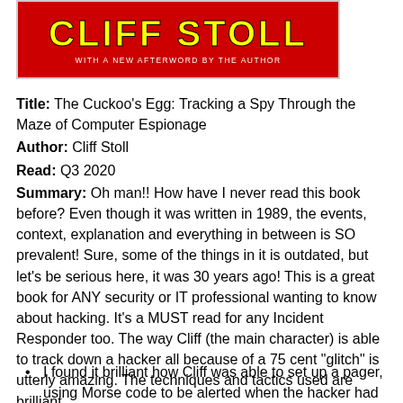[Figure (illustration): Book cover of 'Cliff Stoll' with red background and yellow text, subtitle 'WITH A NEW AFTERWORD BY THE AUTHOR']
Title: The Cuckoo's Egg: Tracking a Spy Through the Maze of Computer Espionage
Author: Cliff Stoll
Read: Q3 2020
Summary: Oh man!! How have I never read this book before? Even though it was written in 1989, the events, context, explanation and everything in between is SO prevalent! Sure, some of the things in it is outdated, but let's be serious here, it was 30 years ago! This is a great book for ANY security or IT professional wanting to know about hacking. It's a MUST read for any Incident Responder too. The way Cliff (the main character) is able to track down a hacker all because of a 75 cent "glitch" is utterly amazing. The techniques and tactics used are brilliant.
Key Takeaways:
I found it brilliant how Cliff was able to set up a pager, using Morse code to be alerted when the hacker had accessed his network